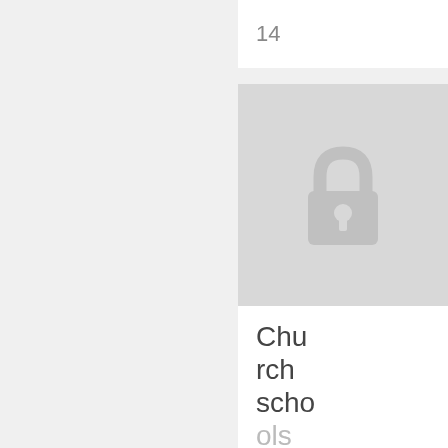14
[Figure (photo): Locked/restricted content placeholder with a padlock icon on a gray background]
Church schools
DATE : 1962-11-22